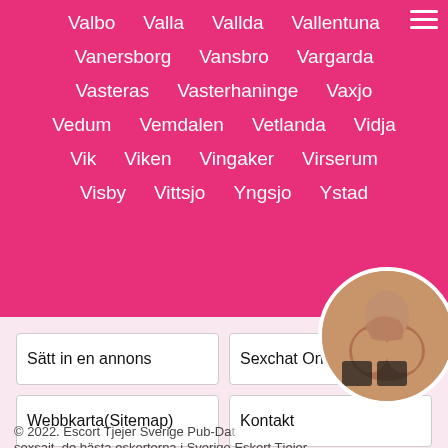Valbo   Valla   Vallda   Vallentuna
Vanersborg   Vansbro   Vargarda
Vasteras   Vasterhaninge   Vaxjo
Vedum   Vemdalen   Vetlanda   Vidja
Vik   Viken   Vingaker   Virserum
Visby   Vittsjo   Yngsjo   Ystad
Sätt in en annons
Sexchat Online
Webbkarta(Sitemap)
Kontakt
[Figure (photo): Circular cropped photo of a person, partially obscured]
© 2022. Escort Tjejer Sverige Pub-Dat... sexsait, de bästa eskorterna i Sverige Eskort Tjejer